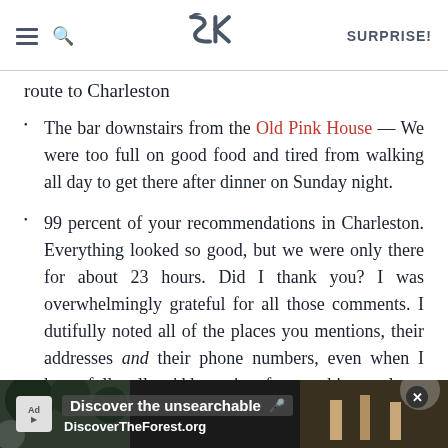SK | SURPRISE!
route to Charleston
The bar downstairs from the Old Pink House — We were too full on good food and tired from walking all day to get there after dinner on Sunday night.
99 percent of your recommendations in Charleston. Everything looked so good, but we were only there for about 23 hours. Did I thank you? I was overwhelmingly grateful for all those comments. I dutifully noted all of the places you mentions, their addresses and their phone numbers, even when I knew full well we'd have time for two things only.
[Figure (screenshot): Advertisement banner for DiscoverTheForest.org with text 'Discover the unsearchable' and forest background image with people hiking]